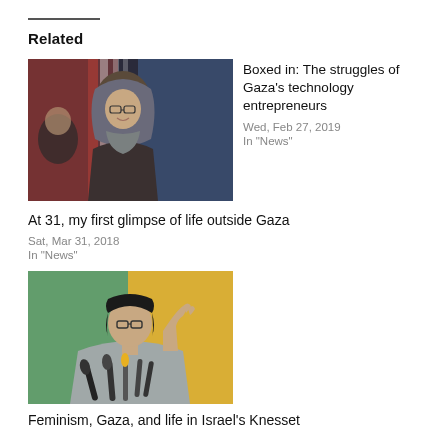Related
[Figure (photo): A woman wearing a hijab and glasses smiling, in a winter outdoor setting with colorful lights in background]
Boxed in: The struggles of Gaza's technology entrepreneurs
Wed, Feb 27, 2019
In "News"
At 31, my first glimpse of life outside Gaza
Sat, Mar 31, 2018
In "News"
[Figure (photo): A woman with short black hair and glasses speaking at a podium with multiple microphones, raising her hand]
Feminism, Gaza, and life in Israel's Knesset